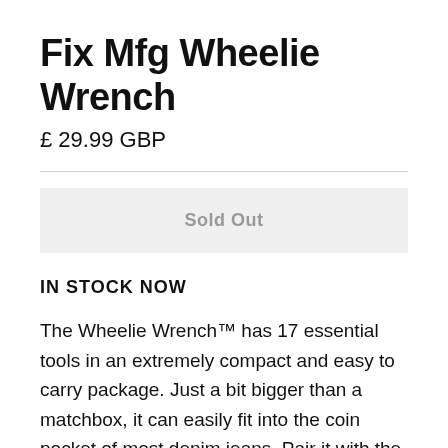Fix Mfg Wheelie Wrench
£ 29.99 GBP
Sold Out
IN STOCK NOW
The Wheelie Wrench™ has 17 essential tools in an extremely compact and easy to carry package. Just a bit bigger than a matchbox, it can easily fit into the coin pocket of most denim jeans. Pair it with the All Out Belt™ for easy carry around the workshop or with the 'Strap On' holster attached to your